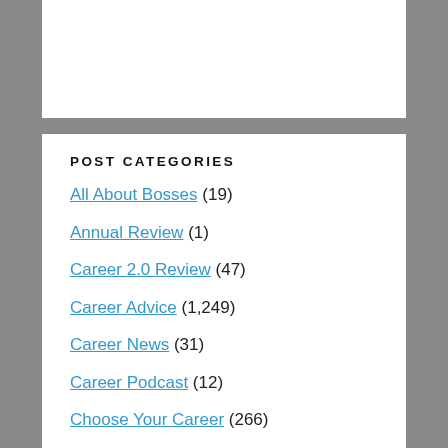POST CATEGORIES
All About Bosses (19)
Annual Review (1)
Career 2.0 Review (47)
Career Advice (1,249)
Career News (31)
Career Podcast (12)
Choose Your Career (266)